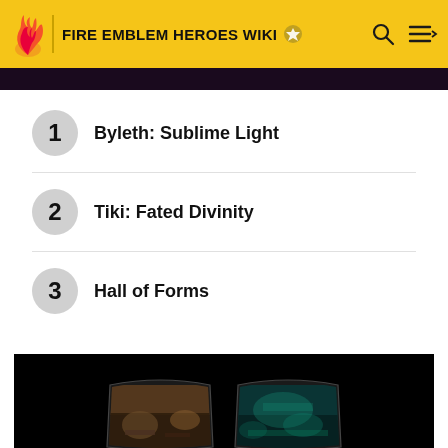FIRE EMBLEM HEROES WIKI
1 Byleth: Sublime Light
2 Tiki: Fated Divinity
3 Hall of Forms
[Figure (screenshot): Bottom portion showing two curved gaming monitors with gameplay displayed on screens, on a black background]